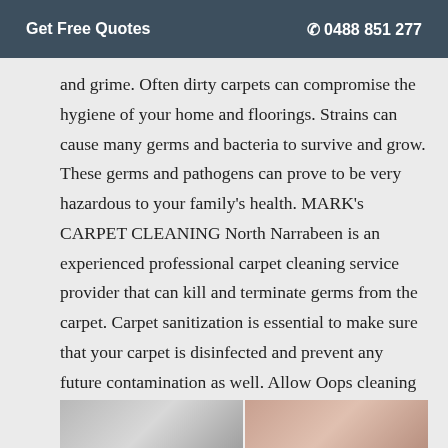Get Free Quotes   ☎ 0488 851 277
and grime. Often dirty carpets can compromise the hygiene of your home and floorings. Strains can cause many germs and bacteria to survive and grow. These germs and pathogens can prove to be very hazardous to your family's health. MARK's CARPET CLEANING North Narrabeen is an experienced professional carpet cleaning service provider that can kill and terminate germs from the carpet. Carpet sanitization is essential to make sure that your carpet is disinfected and prevent any future contamination as well. Allow Oops cleaning to provide you with effective carpet sanitization service at affordable costs.
[Figure (photo): Partial view of a carpet cleaning image at the bottom of the page, showing equipment or carpets being cleaned.]